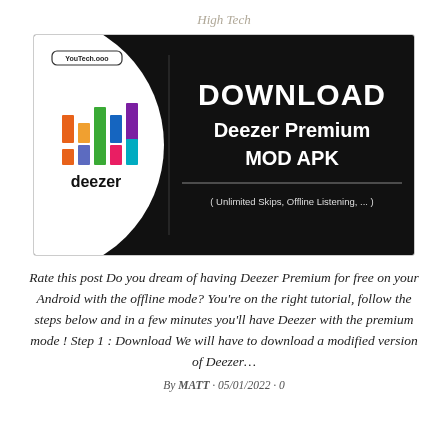High Tech
[Figure (infographic): Promotional banner for Download Deezer Premium MOD APK with Deezer logo on left (colorful bar chart icon on white background with 'deezer' text) and text on dark/black background: 'DOWNLOAD Deezer Premium MOD APK' with subtitle '( Unlimited Skips, Offline Listening, ... )'. Top left corner has 'YouTech.ooo' badge.]
Rate this post Do you dream of having Deezer Premium for free on your Android with the offline mode? You're on the right tutorial, follow the steps below and in a few minutes you'll have Deezer with the premium mode ! Step 1 : Download We will have to download a modified version of Deezer…
By MATT · 05/01/2022 · 0